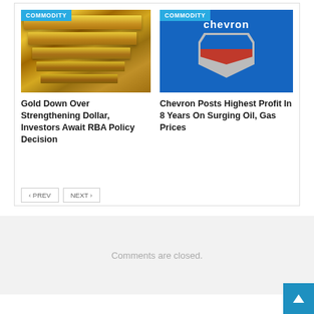[Figure (photo): Gold bars stacked, with COMMODITY badge overlay]
Gold Down Over Strengthening Dollar, Investors Await RBA Policy Decision
[Figure (photo): Chevron logo sign on blue background, with COMMODITY badge overlay]
Chevron Posts Highest Profit In 8 Years On Surging Oil, Gas Prices
< PREV   NEXT >
Comments are closed.